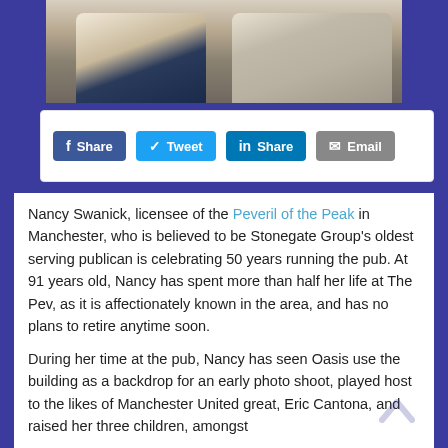[Figure (photo): Two elderly people sitting together on a sofa, one in a white top and dark trousers, one in a grey top]
Share Tweet Share Email (social share buttons)
Nancy Swanick, licensee of the Peveril of the Peak in Manchester, who is believed to be Stonegate Group's oldest serving publican is celebrating 50 years running the pub. At 91 years old, Nancy has spent more than half her life at The Pev, as it is affectionately known in the area, and has no plans to retire anytime soon.
During her time at the pub, Nancy has seen Oasis use the building as a backdrop for an early photo shoot, played host to the likes of Manchester United great, Eric Cantona, and raised her three children, amongst